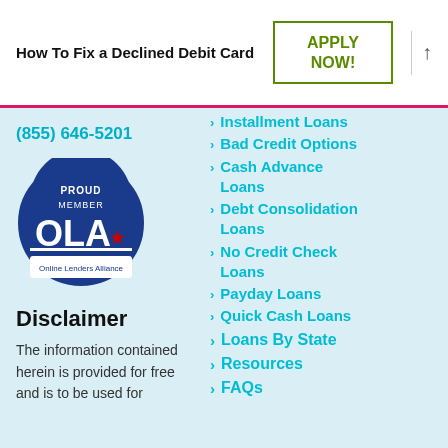How To Fix a Declined Debit Card
APPLY NOW!
(855) 646-5201
[Figure (logo): OLA Proud Member badge - Online Lenders Alliance circular blue logo]
Disclaimer
The information contained herein is provided for free and is to be used for
Installment Loans
Bad Credit Options
Cash Advance Loans
Debt Consolidation Loans
No Credit Check Loans
Payday Loans
Quick Cash Loans
Loans By State
Resources
FAQs